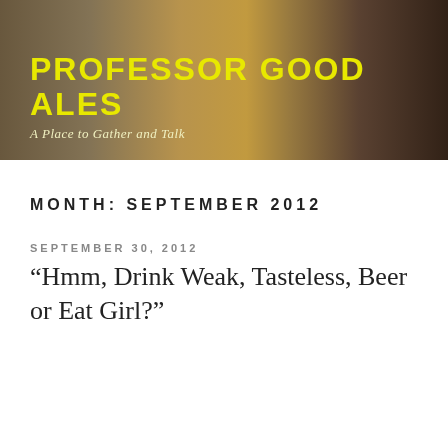[Figure (photo): Header banner photo showing glasses of beer on a table, with warm amber/brown tones]
PROFESSOR GOOD ALES
A Place to Gather and Talk
MONTH: SEPTEMBER 2012
SEPTEMBER 30, 2012
“Hmm, Drink Weak, Tasteless, Beer or Eat Girl?”